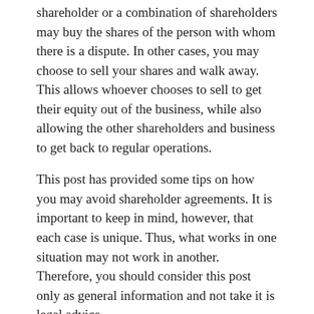shareholder or a combination of shareholders may buy the shares of the person with whom there is a dispute. In other cases, you may choose to sell your shares and walk away. This allows whoever chooses to sell to get their equity out of the business, while also allowing the other shareholders and business to get back to regular operations.
This post has provided some tips on how you may avoid shareholder agreements. It is important to keep in mind, however, that each case is unique. Thus, what works in one situation may not work in another. Therefore, you should consider this post only as general information and not take it is legal advice.
[Figure (infographic): Three social sharing buttons: Facebook (dark blue), Twitter (light blue), LinkedIn (medium blue), each with icon and label text.]